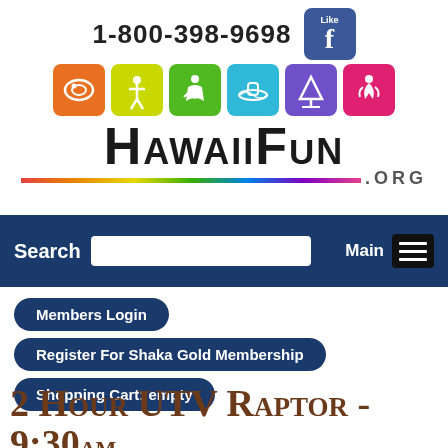[Figure (logo): HawaiiFun.org website header with phone number 1-800-398-9698, Facebook Like button, six activity icons, and HawaiiFun.org logo with rainbow bar]
[Figure (screenshot): Navigation bar with Search label, search input field, Main label and hamburger menu icon on dark blue background]
Members Login
Register For Shaka Gold Membership
Shopping Cart: empty
2 Hour UTV Raptor - 9:30am